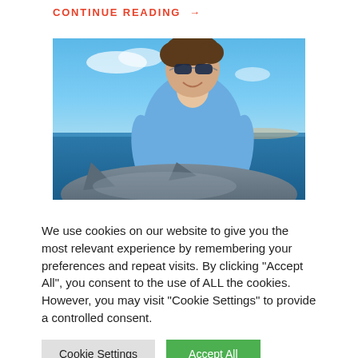CONTINUE READING →
[Figure (photo): Young man wearing sunglasses and a blue tank top, smiling, holding a large fish on a boat on the ocean. Blue sky and water visible in the background.]
We use cookies on our website to give you the most relevant experience by remembering your preferences and repeat visits. By clicking "Accept All", you consent to the use of ALL the cookies. However, you may visit "Cookie Settings" to provide a controlled consent.
Cookie Settings
Accept All